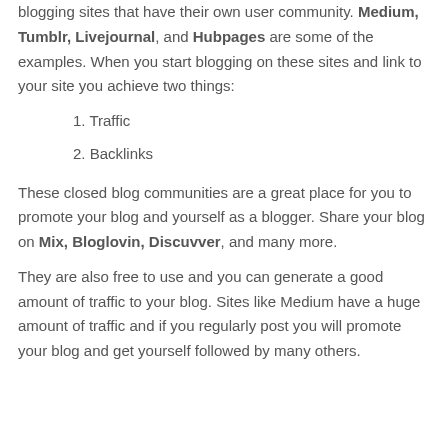blogging sites that have their own user community. Medium, Tumblr, Livejournal, and Hubpages are some of the examples. When you start blogging on these sites and link to your site you achieve two things:
1. Traffic
2. Backlinks
These closed blog communities are a great place for you to promote your blog and yourself as a blogger. Share your blog on Mix, Bloglovin, Discuvver, and many more.
They are also free to use and you can generate a good amount of traffic to your blog. Sites like Medium have a huge amount of traffic and if you regularly post you will promote your blog and get yourself followed by many others.